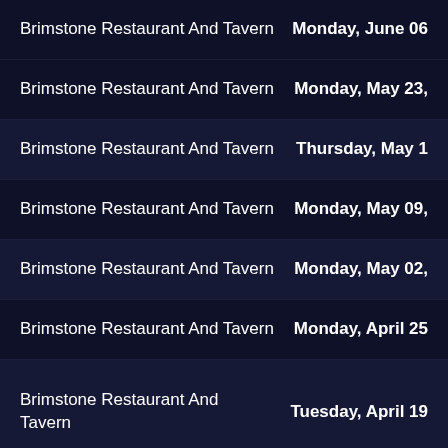Brimstone Restaurant And Tavern — Monday, June 06
Brimstone Restaurant And Tavern — Monday, May 23,
Brimstone Restaurant And Tavern — Thursday, May 1
Brimstone Restaurant And Tavern — Monday, May 09,
Brimstone Restaurant And Tavern — Monday, May 02,
Brimstone Restaurant And Tavern — Monday, April 25
Brimstone Restaurant And Tavern — Tuesday, April 19